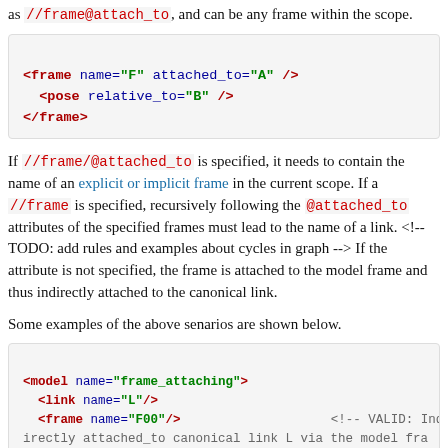as //frame@attach_to, and can be any frame within the scope.
Code block: <frame name="F" attached_to="A" />
  <pose relative_to="B" />
</frame>
If //frame/@attached_to is specified, it needs to contain the name of an explicit or implicit frame in the current scope. If a //frame is specified, recursively following the @attached_to attributes of the specified frames must lead to the name of a link. <!-- TODO: add rules and examples about cycles in graph --> If the attribute is not specified, the frame is attached to the model frame and thus indirectly attached to the canonical link.
Some examples of the above senarios are shown below.
Code block: <model name="frame_attaching">
  <link name="L"/>
  <frame name="F00"/>  <!-- VALID: Indirectly attached_to canonical link L via the model frame. -->
  <frame name="F0" attached_to=""/>  <!-- VALID: Indirectly attached_to canonical link L via the model frame. -->